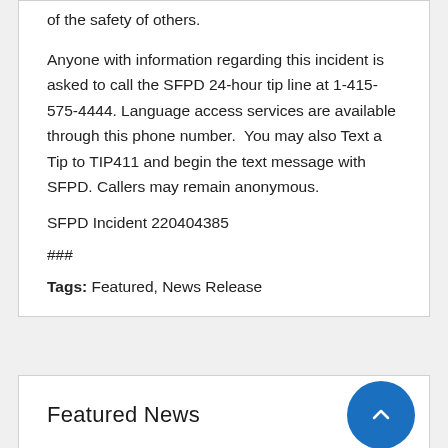of the safety of others.
Anyone with information regarding this incident is asked to call the SFPD 24-hour tip line at 1-415-575-4444. Language access services are available through this phone number.  You may also Text a Tip to TIP411 and begin the text message with SFPD. Callers may remain anonymous.
SFPD Incident 220404385
###
Tags: Featured, News Release
Featured News